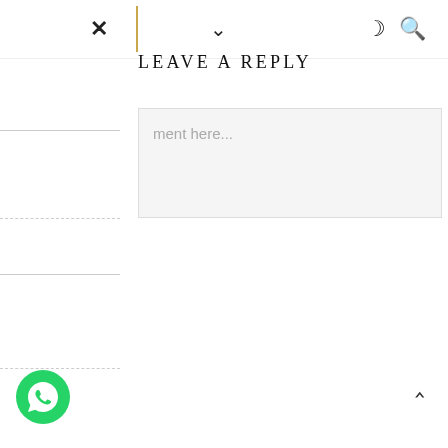× | ∨ ☾ 🔍
LEAVE A REPLY
Write your comment here...
[Figure (other): WhatsApp floating action button (green circle with phone icon)]